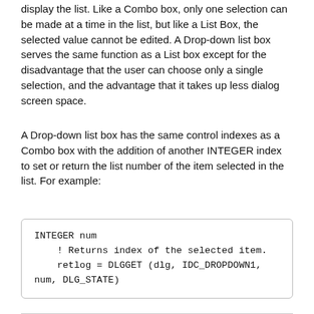display the list. Like a Combo box, only one selection can be made at a time in the list, but like a List Box, the selected value cannot be edited. A Drop-down list box serves the same function as a List box except for the disadvantage that the user can choose only a single selection, and the advantage that it takes up less dialog screen space.
A Drop-down list box has the same control indexes as a Combo box with the addition of another INTEGER index to set or return the list number of the item selected in the list. For example: